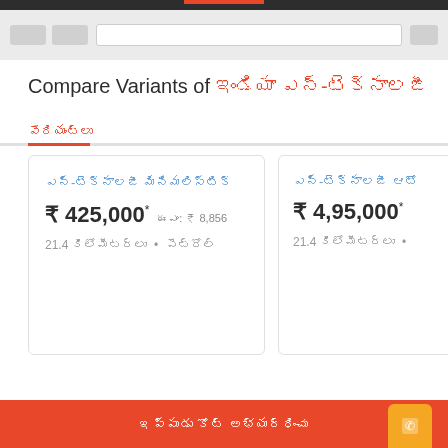Browser chrome / navigation bar
Compare Variants of ఇండియా ఎన్-టెక్నాలజీ
వేరియంట్లు
| Variant | Price | EMI | Mileage | Fuel |
| --- | --- | --- | --- | --- |
| ఎన్-టెక్నాలజీ మినిమలిస్టిక్ | ₹ 425,000* | ఈఎం: ₹ 8,856 | 21.4 కిలోమీటర్లు | పెట్రోల్ |
| ఎన్-టెక్నాలజీ ఆటో | ₹ 4,95,000* |  | 21.4 కిలోమీటర్లు |  |
ఇప్పుడు కోట్ అభ్యర్థించు